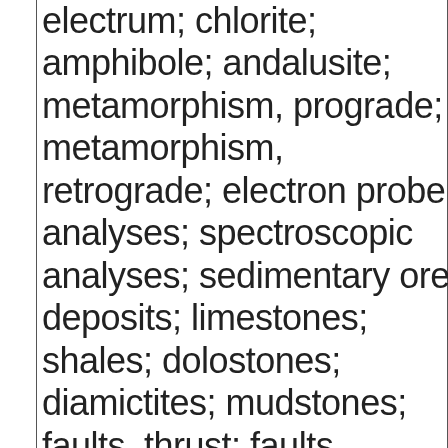electrum; chlorite; amphibole; andalusite; metamorphism, prograde; metamorphism, retrograde; electron probe analyses; spectroscopic analyses; sedimentary ore deposits; limestones; shales; dolostones; diamictites; mudstones; faults, thrust; faults, extension; faults, transform; synclines; bedding planes; magnetic interpretations; total field magnetics; gravity interpretations; bouguer gravity; seismic